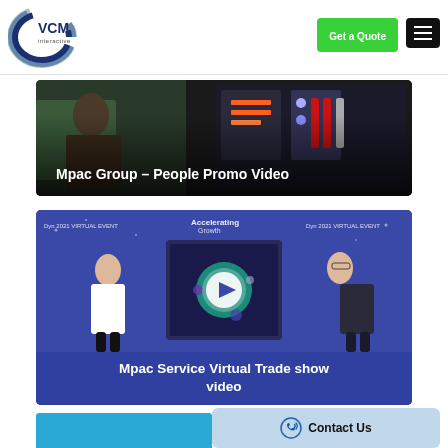[Figure (logo): VCM Interactive logo — stylized C shape in blue/grey with VCM text and 'interactive' subtitle]
[Figure (screenshot): Navigation header with green 'Get a Quote' button and black hamburger menu button]
[Figure (photo): Dark video thumbnail showing industrial/engineering scene with people working with equipment, titled 'Mpac Group – People Promo Video']
Mpac Group – People Promo Video
[Figure (screenshot): Video thumbnail on blue/purple background showing virtual event with two people standing and a play button in the center, with 'Mpac Service Virtual Trade show video' caption]
Mpac Service Virtual Trade show video
[Figure (screenshot): Partial blue card at bottom of page and 'Contact Us' button with phone icon]
Contact Us